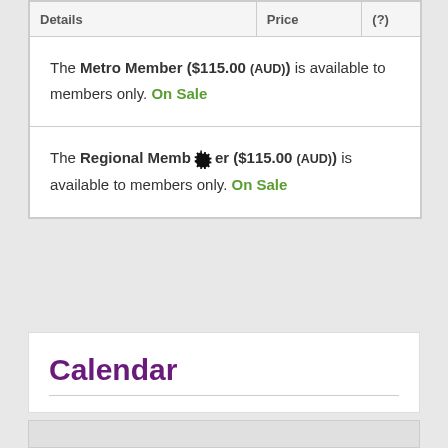| Details | Price | (?) |
| --- | --- | --- |
| The Metro Member ($115.00 (AUD)) is available to members only. On Sale |  |  |
| The Regional Member ($115.00 (AUD)) is available to members only. On Sale |  |  |
Calendar